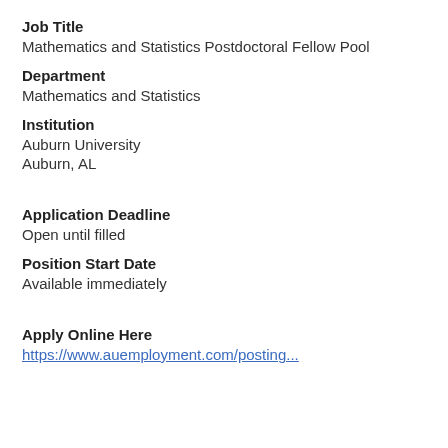Job Title
Mathematics and Statistics Postdoctoral Fellow Pool
Department
Mathematics and Statistics
Institution
Auburn University
Auburn, AL
Application Deadline
Open until filled
Position Start Date
Available immediately
Apply Online Here
https://www.auemployment.com/posting...